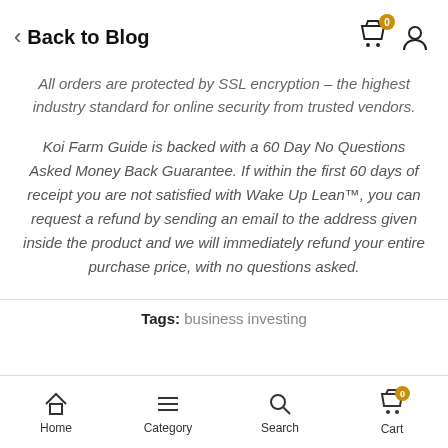Back to Blog
All orders are protected by SSL encryption – the highest industry standard for online security from trusted vendors.
Koi Farm Guide is backed with a 60 Day No Questions Asked Money Back Guarantee. If within the first 60 days of receipt you are not satisfied with Wake Up Lean™, you can request a refund by sending an email to the address given inside the product and we will immediately refund your entire purchase price, with no questions asked.
Tags: business investing
Home  Category  Search  Cart